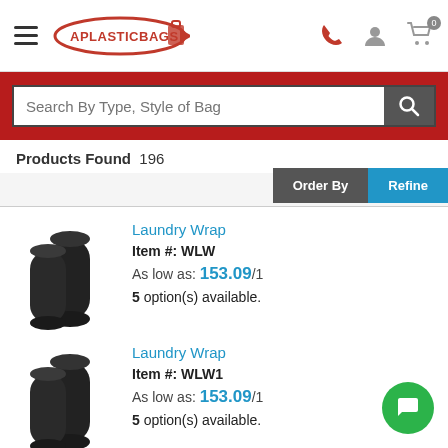APlasticBags.com - navigation header with logo, search phone, user, cart icons
Search By Type, Style of Bag
Products Found 196
Order By | Refine
[Figure (photo): Black plastic stretch film rolls (laundry wrap), two rolls stacked]
Laundry Wrap
Item #: WLW
As low as: 153.09/1
5 option(s) available.
[Figure (photo): Black plastic stretch film rolls (laundry wrap), two rolls stacked]
Laundry Wrap
Item #: WLW1
As low as: 153.09/1
5 option(s) available.